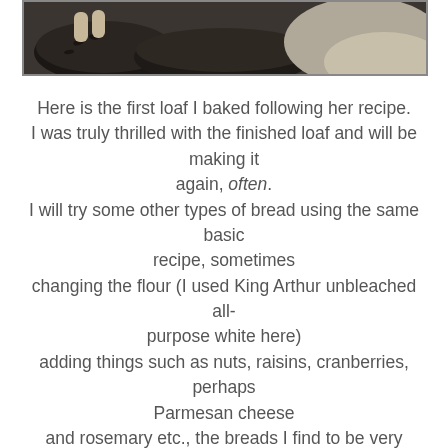[Figure (photo): Cropped photo showing bread loaves, possibly in a baking pan, partial view of baked goods with dark background]
Here is the first loaf I baked following her recipe. I was truly thrilled with the finished loaf and will be making it again, often. I will try some other types of bread using the same basic recipe, sometimes changing the flour (I used King Arthur unbleached all-purpose white here) adding things such as nuts, raisins, cranberries, perhaps Parmesan cheese and rosemary etc., the breads I find to be very expensive at the bakery.
This white bread is just as good any I've bought from a bakery. The crust was crunchy, the crumb tender and flavorful. Right out of the oven it was delicious - 5 days later it was still being toasted for breakfast - and for me